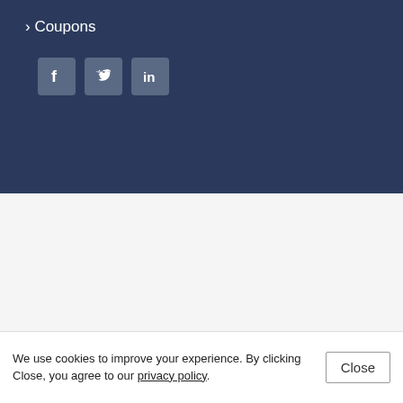› Coupons
[Figure (illustration): Social media icons: Facebook, Twitter, LinkedIn on dark navy background]
[Figure (logo): AppEsteem Trusted Monitored badge - orange circular badge with AppEsteem text]
[Figure (logo): Norton powered by digicert badge - yellow and black checkmark with Norton text]
[Figure (infographic): Trustpilot rating showing Excellent with 4.5 green stars]
We use cookies to improve your experience. By clicking Close, you agree to our privacy policy.